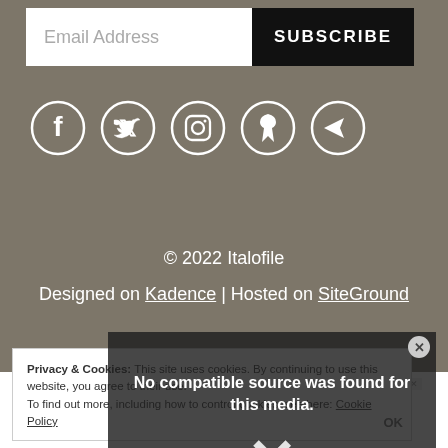Email Address
SUBSCRIBE
[Figure (illustration): Social media icons: Facebook, Twitter, Instagram, Pinterest, Telegram — white icons on dark olive/taupe background]
© 2022 Italofile
Designed on Kadence | Hosted on SiteGround
Privacy & Cookies: This site uses cookies. By continuing to use this website, you agree to their use. To find out more, including how to control cookies, see here: Cookie Policy
No compatible source was found for this media.
Your Adventure Awaits
Ad
Open